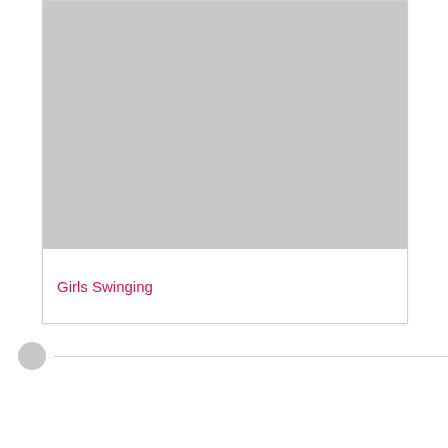[Figure (photo): A card element showing a grey placeholder image area on top]
Girls Swinging